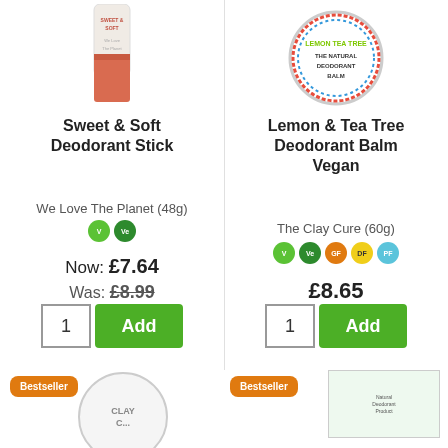[Figure (photo): Sweet & Soft Deodorant Stick product image, pink/salmon colored stick bottle]
Sweet & Soft Deodorant Stick
We Love The Planet (48g)
V Ve badges (Vegan, Vegetarian)
Now: £7.64
Was: £8.99
1  Add
[Figure (photo): Lemon & Tea Tree Deodorant Balm Vegan product image, round tin with colorful mandala border]
Lemon & Tea Tree Deodorant Balm Vegan
The Clay Cure (60g)
V Ve GF DF PF badges
£8.65
1  Add
[Figure (photo): Bestseller badge and partial Clay Cure product tin at bottom left]
[Figure (photo): Bestseller badge and partial product image at bottom right]